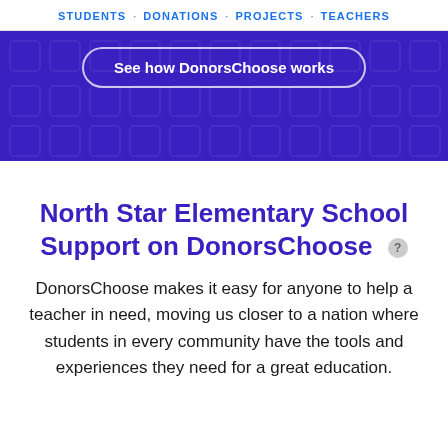STUDENTS · DONATIONS · PROJECTS · TEACHERS
[Figure (screenshot): Purple/blue hero banner with decorative pattern background and a pill-shaped button reading 'See how DonorsChoose works']
North Star Elementary School Support on DonorsChoose
DonorsChoose makes it easy for anyone to help a teacher in need, moving us closer to a nation where students in every community have the tools and experiences they need for a great education.